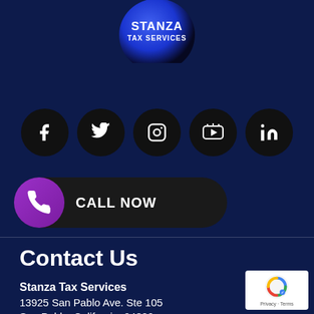[Figure (logo): Stanza Tax Services logo - blue sphere with white text STANZA TAX SERVICES]
[Figure (infographic): Social media icons row: Facebook, Twitter, Instagram, YouTube, LinkedIn - each in a black circle]
CALL NOW
Contact Us
Stanza Tax Services
13925 San Pablo Ave. Ste 105
San Pablo, California. 94806